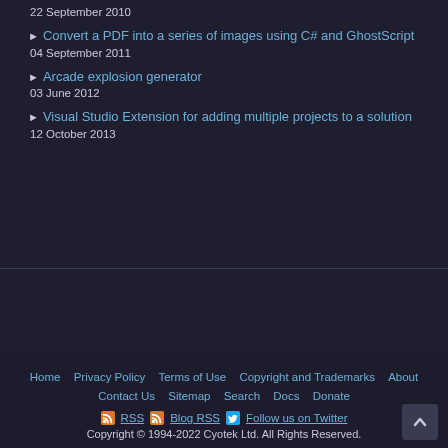22 September 2010
Convert a PDF into a series of images using C# and GhostScript
04 September 2011
Arcade explosion generator
03 June 2012
Visual Studio Extension for adding multiple projects to a solution
12 October 2013
Home | Privacy Policy | Terms of Use | Copyright and Trademarks | About | Contact Us | Sitemap | Search | Docs | Donate | RSS | Blog RSS | Follow us on Twitter | Copyright © 1994-2022 Cyotek Ltd. All Rights Reserved.